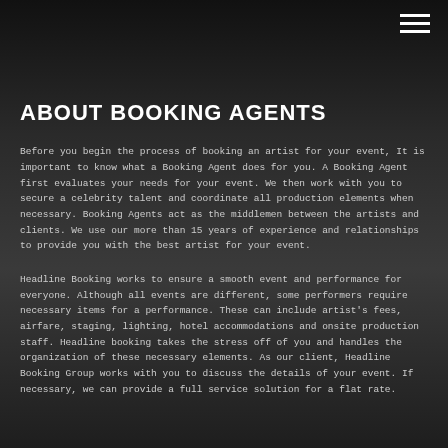ABOUT BOOKING AGENTS
Before you begin the process of booking an artist for your event, It is important to know what a Booking Agent does for you. A Booking Agent first evaluates your needs for your event. We then work with you to secure a celebrity talent and coordinate all production elements when necessary. Booking Agents act as the middlemen between the artists and clients. We use our more than 15 years of experience and relationships to provide you with the best artist for your event.
Headline Booking works to ensure a smooth event and performance for everyone. Although all events are different, some performers require necessary items for a performance. These can include artist's fees, airfare, staging, lighting, hotel accommodations and onsite production staff. Headline booking takes the stress off of you and handles the organization of these necessary elements. As our client, Headline Booking Group works with you to discuss the details of your event. If necessary, we can provide a full service solution for a flat rate.